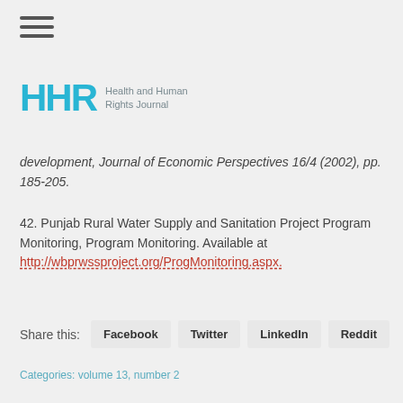[Figure (logo): HHR Health and Human Rights Journal logo with hamburger menu icon]
development, Journal of Economic Perspectives 16/4 (2002), pp. 185-205.
42. Punjab Rural Water Supply and Sanitation Project Program Monitoring, Program Monitoring. Available at http://wbprwssproject.org/ProgMonitoring.aspx.
Share this: Facebook Twitter LinkedIn Reddit
Categories: volume 13, number 2